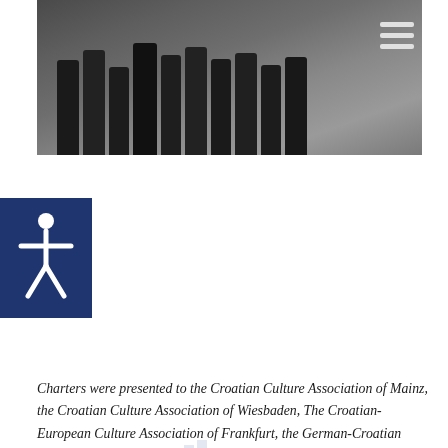[Figure (photo): Group photo of people standing in a room, shown in grayscale/dark tones. A hamburger menu icon is visible in the top-right corner.]
[Figure (logo): Accessibility icon on dark navy blue square background — white stick figure with arms outstretched.]
Charters were presented to the Croatian Culture Association of Mainz, the Croatian Culture Association of Wiesbaden, The Croatian-European Culture Association of Frankfurt, the German-Croatian Association of Mainz, the Livanjska Zajednica Association of Frankfurt, the Croatian Culture Association of Mannheim, the Hercegovina Croatian Community of Stuttgart, FC Posavina Frankfurt, FC Croatia Frankfurt and the Sveti Ivan Ričice Local Heritage Association.